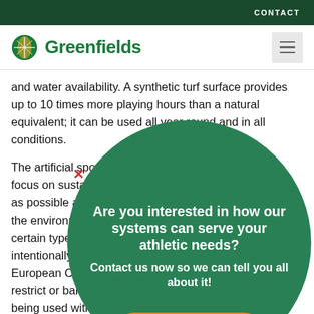CONTACT
[Figure (logo): Greenfields logo with green grass icon and green bold text]
and water availability. A synthetic turf surface provides up to 10 times more playing hours than a natural equivalent; it can be used all year round and in all conditions.
The artificial sports surfaces industry needs a global focus on sustainability to make synthetic turf as 'green' as possible and to monitor sustainability and impact on the environment over its whole life cycle. Recently, certain types of infills have been classified as intentionally added microplastics. In Europe, the European Chemicals Agency (ECHA) proposed to restrict or ban these intentionally added microplastics being used within synthetic turf systems.
[Figure (infographic): Dark green circle popup overlay with text: 'Are you interested in how our systems can serve your athletic needs?' and subtext 'Contact us now so we can tell you all about it!' and orange Contact Us button with envelope icon at bottom]